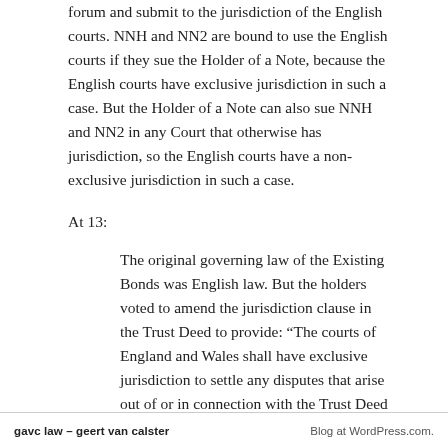forum and submit to the jurisdiction of the English courts. NNH and NN2 are bound to use the English courts if they sue the Holder of a Note, because the English courts have exclusive jurisdiction in such a case. But the Holder of a Note can also sue NNH and NN2 in any Court that otherwise has jurisdiction, so the English courts have a non-exclusive jurisdiction in such a case.
At 13:
The original governing law of the Existing Bonds was English law. But the holders voted to amend the jurisdiction clause in the Trust Deed to provide: “The courts of England and Wales shall have exclusive jurisdiction to settle any disputes that arise out of or in connection with the Trust Deed and the Bonds,
gavc law – geert van calster                                                Blog at WordPress.com.